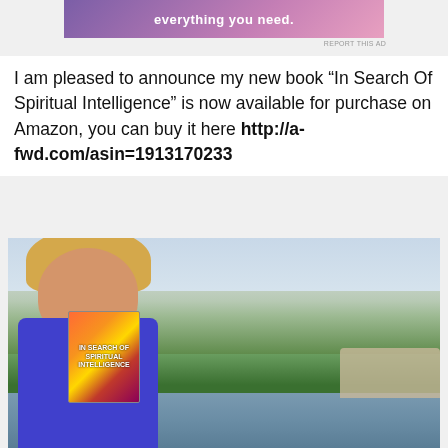[Figure (photo): Advertisement banner with purple/pink gradient background and white text reading 'everything you need.' with a logo icon]
REPORT THIS AD
I am pleased to announce my new book “In Search Of Spiritual Intelligence” is now available for purchase on Amazon, you can buy it here http://a-fwd.com/asin=1913170233
[Figure (photo): A woman with blonde hair and glasses wearing a purple jacket holding up a book titled 'In Search of Spiritual Intelligence' with a colorful orange/red/yellow cover. She is standing outdoors near a river with green parkland, bare trees, and a bridge visible in the background.]